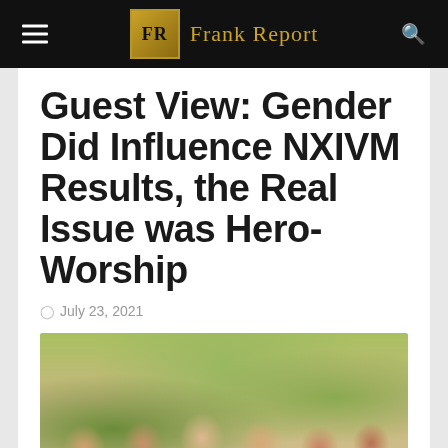FR Frank Report
Guest View: Gender Did Influence NXIVM Results, the Real Issue was Hero-Worship
July 23, 2021
[Figure (photo): Group photo of women smiling outdoors, wearing white clothing, with green foliage visible in the background.]